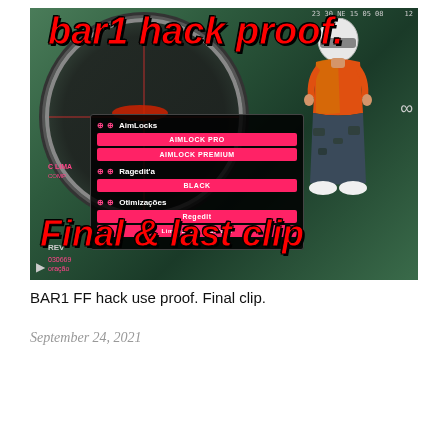[Figure (screenshot): Video thumbnail showing a Free Fire game hack menu screenshot. Large red bold italic text reads 'bar1 hack proof' at the top and 'Final & last clip' across the bottom. A game character in orange shirt and camo pants stands on the right. A sniper scope overlay appears on the left. A dark hack menu shows AimLocks, AIMLOCK PRO, AIMLOCK PREMIUM, Ragedit's, BLACK, Otimizações, Regedit, Limpeza de Residuos options in pink/red buttons.]
BAR1 FF hack use proof. Final clip.
September 24, 2021